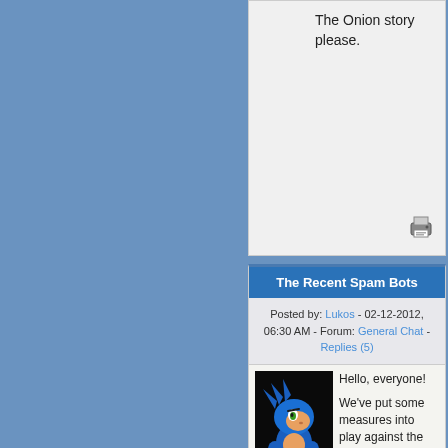The Onion story please.
The Recent Spam Bots
Posted by: Lukos - 02-12-2012, 06:30 AM - Forum: General Chat - Replies (5)
[Figure (illustration): Sonic the Hedgehog character image on black background]
Hello, everyone!

We've put some measures into play against the spam bots that have been so badly